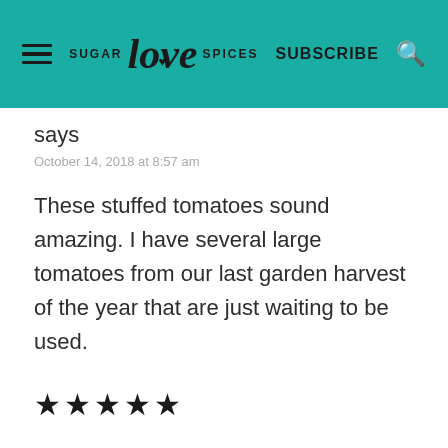SUGAR love SPICES  SUBSCRIBE
says
October 14, 2018 at 8:57 am
These stuffed tomatoes sound amazing. I have several large tomatoes from our last garden harvest of the year that are just waiting to be used.
★★★★★